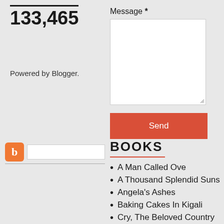133,465
Powered by Blogger.
[Figure (other): Blogger icon (orange square with 'b') with a text input field, underlined bar]
Message *
Send
BOOKS
A Man Called Ove
A Thousand Splendid Suns
Angela's Ashes
Baking Cakes In Kigali
Cry, The Beloved Country